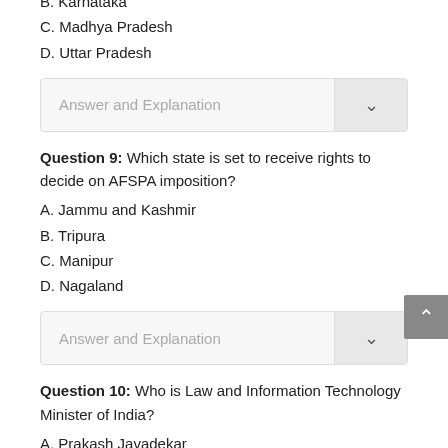B. Karnataka
C. Madhya Pradesh
D. Uttar Pradesh
Answer and Explanation
Question 9: Which state is set to receive rights to decide on AFSPA imposition?
A. Jammu and Kashmir
B. Tripura
C. Manipur
D. Nagaland
Answer and Explanation
Question 10: Who is Law and Information Technology Minister of India?
A. Prakash Javadekar